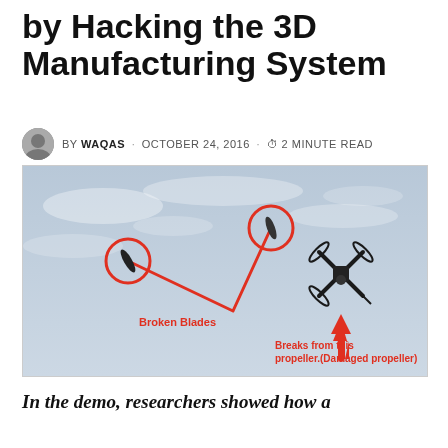by Hacking the 3D Manufacturing System
BY WAQAS · OCTOBER 24, 2016 · 2 MINUTE READ
[Figure (photo): Photo of a drone in flight with two broken propeller blades flying off to the left, annotated with red circles around the broken blades and a red arrow pointing to the damaged propeller. Text labels in red: 'Broken Blades' and 'Breaks from this propeller.(Damaged propeller)']
In the demo, researchers showed how a